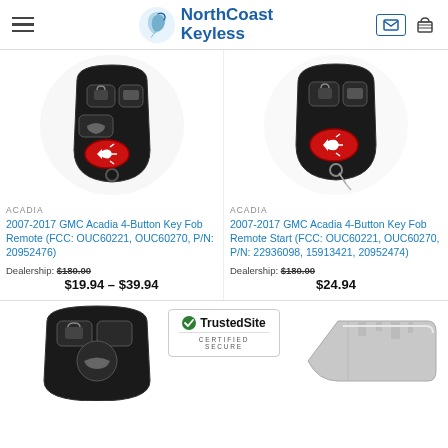NorthCoast Keyless
[Figure (photo): 2007-2017 GMC Acadia 4-Button Key Fob Remote, black plastic with lock/unlock/trunk/alarm buttons]
ACADIA
2007-2017 GMC Acadia 4-Button Key Fob Remote (FCC: OUC60221, OUC60270, P/N: 20952476)
Dealership: $180.00
$19.94 – $39.94
[Figure (photo): 2007-2017 GMC Acadia 4-Button Key Fob Remote Start, black plastic with buttons and key ring]
ACADIA
2007-2017 GMC Acadia 4-Button Key Fob Remote Start (FCC: OUC60221, OUC60270, P/N: 22936098, 15913421, 20952474)
Dealership: $180.00
$24.94
[Figure (photo): Partial view of another key fob remote at bottom left]
[Figure (photo): Partial view of a car key blade at bottom right]
[Figure (logo): TrustedSite CERTIFIED SECURE badge]